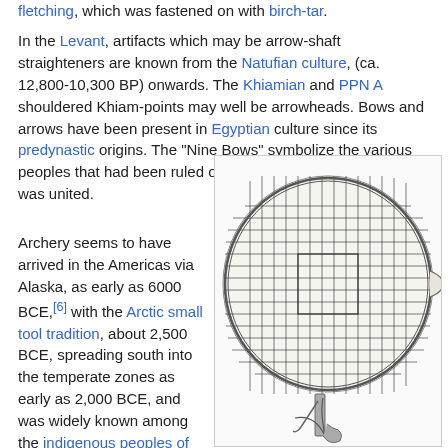fletching, which was fastened on with birch-tar.
In the Levant, artifacts which may be arrow-shaft straighteners are known from the Natufian culture, (ca. 12,800-10,300 BP) onwards. The Khiamian and PPN A shouldered Khiam-points may well be arrowheads. Bows and arrows have been present in Egyptian culture since its predynastic origins. The "Nine Bows" symbolize the various peoples that had been ruled over by the pharaoh since Egypt was united.
Archery seems to have arrived in the Americas via Alaska, as early as 6000 BCE,[6] with the Arctic small tool tradition, about 2,500 BCE, spreading south into the temperate zones as early as 2,000 BCE, and was widely known among the indigenous peoples of North America from about
[Figure (illustration): A detailed line drawing of a circular woven or latticed object (possibly a wicker or reed artifact), viewed from the front, showing a grid-like woven pattern with a cylindrical or rod-like element at the bottom.]